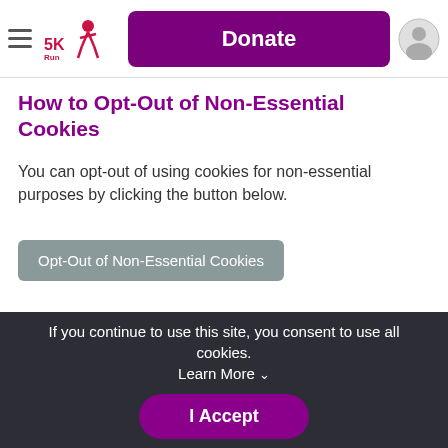[Figure (screenshot): Website navigation bar with hamburger menu, 5K Run logo, purple Donate button, and profile icon]
How to Opt-Out of Non-Essential Cookies
You can opt-out of using cookies for non-essential purposes by clicking the button below.
[Figure (screenshot): Grey button labeled 'Opt-Out of Non-Essential Cookies']
[Figure (logo): 5K Run logo on white background in dark footer area]
If you continue to use this site, you consent to use all cookies. Learn More ˅
[Figure (screenshot): Purple 'I Accept' button in cookie consent bar]